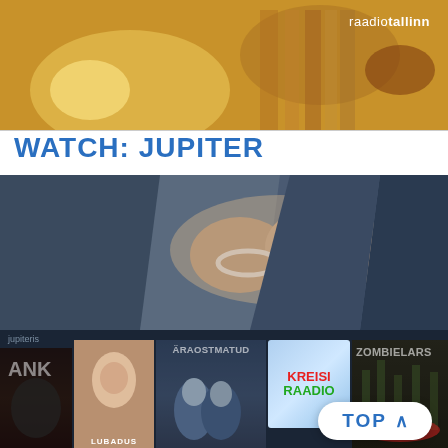[Figure (photo): Top banner image showing warm golden/amber tones with what appears to be musical instruments or decorative objects, with 'raadiotallinn' logo text in top right]
WATCH: JUPITER
[Figure (photo): Main image showing a person in a suit with hands in handcuffs, close-up on the hands. Below is a dark strip showing TV show thumbnails: FRANK, LUBADUS, ÄRAOSTMATUD, KREISI RAADIO, ZOMBIELARS. A white 'TOP ^' button appears at bottom right.]